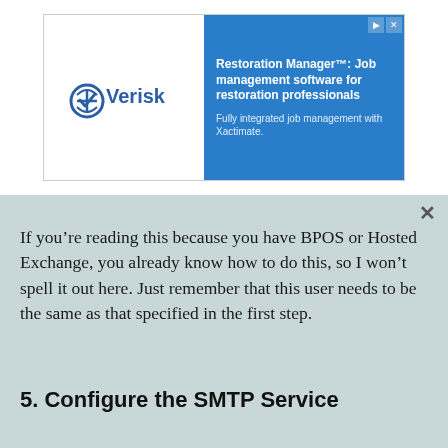[Figure (other): Verisk advertisement banner: Restoration Manager job management software for restoration professionals. Fully integrated job management with Xactimate.]
If you’re reading this because you have BPOS or Hosted Exchange, you already know how to do this, so I won’t spell it out here. Just remember that this user needs to be the same as that specified in the first step.
5. Configure the SMTP Service
Open up the “Internet Information Services (IIS) 6.0 Manager” from the administrative